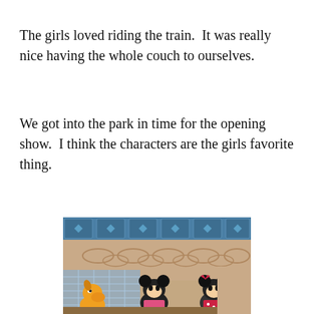The girls loved riding the train.  It was really nice having the whole couch to ourselves.
We got into the park in time for the opening show.  I think the characters are the girls favorite thing.
[Figure (photo): Disney characters (Pluto, Mickey Mouse, and Minnie Mouse) on a stage at what appears to be a Disneyland opening show, inside a train station-style building with ornate ceiling and blue lattice trim above.]